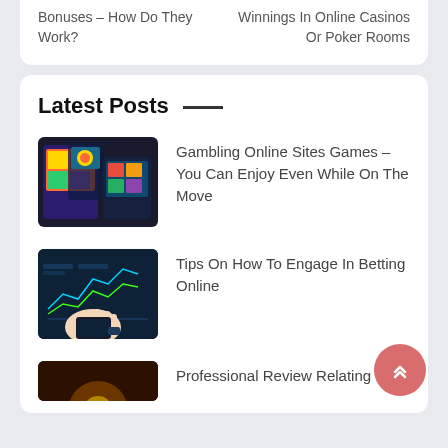Bonuses – How Do They Work?
Winnings In Online Casinos Or Poker Rooms
Latest Posts
[Figure (photo): Mobile devices showing colorful casino slot game apps]
Gambling Online Sites Games – You Can Enjoy Even While On The Move
[Figure (photo): Person touching a screen showing financial/betting charts]
Tips On How To Engage In Betting Online
[Figure (photo): Dark image partially visible at bottom]
Professional Review Relating To